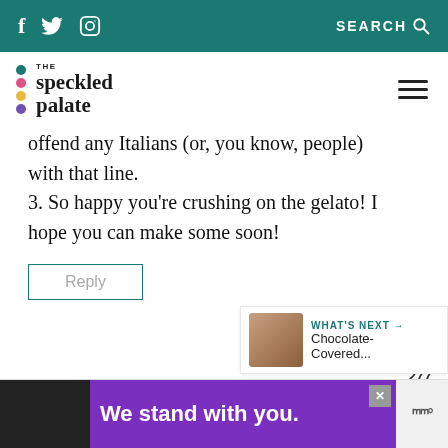f  [twitter]  [instagram]   SEARCH
[Figure (logo): The Speckled Palate logo with colorful dots and stylized text]
offend any Italians (or, you know, people) with that line.
3. So happy you’re crushing on the gelato! I hope you can make some soon!
Reply
[Figure (infographic): What's Next widget with chocolate-covered image and text]
[Figure (infographic): We stand with you. advertisement banner with purple background]